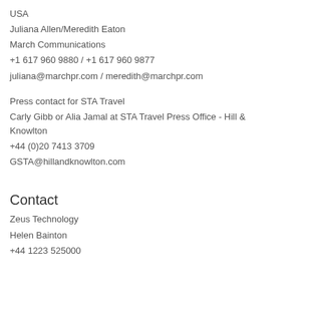USA
Juliana Allen/Meredith Eaton
March Communications
+1 617 960 9880 / +1 617 960 9877
juliana@marchpr.com / meredith@marchpr.com
Press contact for STA Travel
Carly Gibb or Alia Jamal at STA Travel Press Office - Hill & Knowlton
+44 (0)20 7413 3709
GSTA@hillandknowlton.com
Contact
Zeus Technology
Helen Bainton
+44 1223 525000